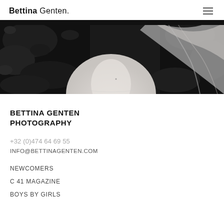Bettina Genten.
[Figure (photo): Black and white close-up photo of a woman's neck and shoulder area with blonde hair, dark foliage background]
BETTINA GENTEN PHOTOGRAPHY
+32 (0)474 64 69 55
INFO@BETTINAGENTEN.COM
NEWCOMERS
C 41 MAGAZINE
BOYS BY GIRLS